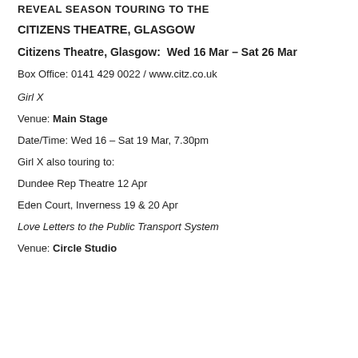REVEAL SEASON TOURING TO THE
CITIZENS THEATRE, GLASGOW
Citizens Theatre, Glasgow:  Wed 16 Mar – Sat 26 Mar
Box Office: 0141 429 0022 / www.citz.co.uk
Girl X
Venue: Main Stage
Date/Time: Wed 16 – Sat 19 Mar, 7.30pm
Girl X also touring to:
Dundee Rep Theatre 12 Apr
Eden Court, Inverness 19 & 20 Apr
Love Letters to the Public Transport System
Venue: Circle Studio